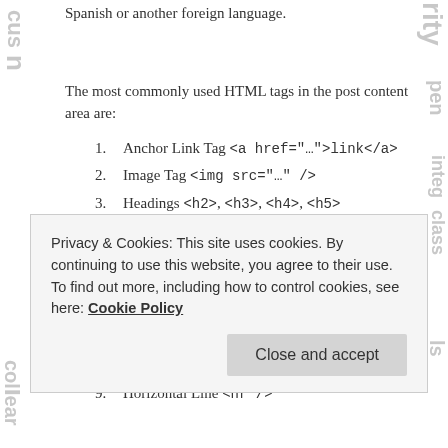Spanish or another foreign language.
The most commonly used HTML tags in the post content area are:
1. Anchor Link Tag <a href="…">link</a>
2. Image Tag <img src="…" />
3. Headings <h2>, <h3>, <h4>, <h5>
4. Paragraph <p>Text here</p>
5. Bold <strong> not <b> and Italic <em> not <i>
6. Lists <ol> and <ul>
7. Blockquote <blockquote> and <cite>
8. Line Break <br />
9. Horizontal Line <hr />
Privacy & Cookies: This site uses cookies. By continuing to use this website, you agree to their use. To find out more, including how to control cookies, see here: Cookie Policy